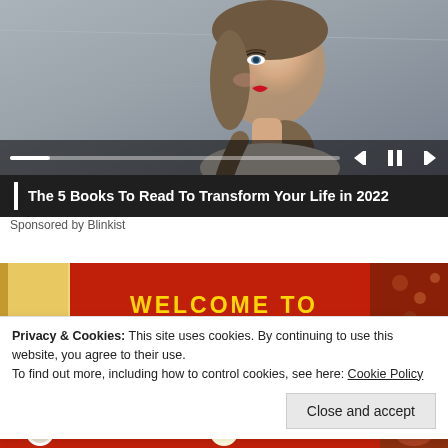[Figure (screenshot): Video player showing a portrait of a young woman with red lipstick and braided hair against a grey background. Video controls bar at bottom with progress bar and skip/pause buttons.]
The 5 Books To Read To Transform Your Life in 2022
Sponsored by Blinkist
[Figure (photo): Red banner with yellow text reading 'WELCOME TO' on a decorative background.]
Privacy & Cookies: This site uses cookies. By continuing to use this website, you agree to their use.
To find out more, including how to control cookies, see here: Cookie Policy
Close and accept